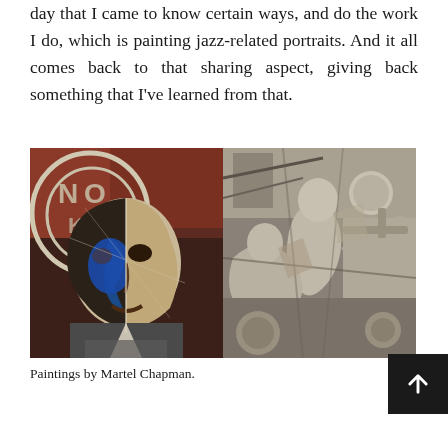day that I came to know certain ways, and do the work I do, which is painting jazz-related portraits. And it all comes back to that sharing aspect, giving back something that I've learned from that.
[Figure (illustration): Two jazz-related paintings by Martel Chapman side by side. Left: a cubist-style portrait of a jazz musician with blue and brown tones, with 'NO' text in the background. Right: a grey-toned cubist scene of jazz musicians playing instruments.]
Paintings by Martel Chapman.